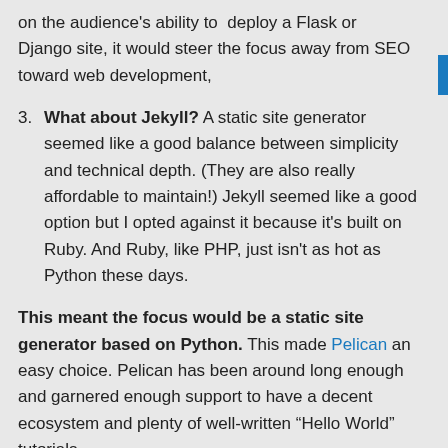on the audience's ability to deploy a Flask or Django site, it would steer the focus away from SEO toward web development,
3. What about Jekyll? A static site generator seemed like a good balance between simplicity and technical depth. (They are also really affordable to maintain!) Jekyll seemed like a good option but I opted against it because it's built on Ruby. And Ruby, like PHP, just isn't as hot as Python these days.
This meant the focus would be a static site generator based on Python. This made Pelican an easy choice. Pelican has been around long enough and garnered enough support to have a decent ecosystem and plenty of well-written “Hello World” tutorials.